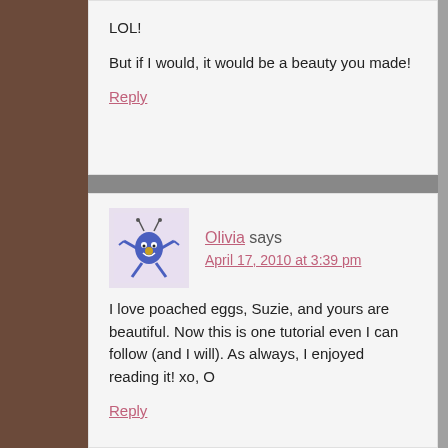LOL!

But if I would, it would be a beauty you made!
Reply
[Figure (illustration): Avatar icon of a blue cartoon figure with antennae and limbs on a light purple background]
Olivia says
April 17, 2010 at 3:39 pm
I love poached eggs, Suzie, and yours are beautiful. Now this is one tutorial even I can follow (and I will). As always, I enjoyed reading it! xo, O
Reply